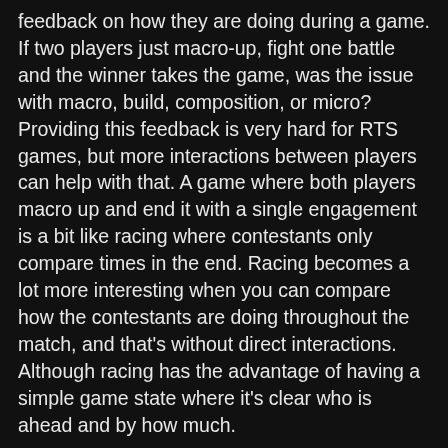feedback on how they are doing during a game. If two players just macro-up, fight one battle and the winner takes the game, was the issue with macro, build, composition, or micro? Providing this feedback is very hard for RTS games, but more interactions between players can help with that. A game where both players macro up and end it with a single engagement is a bit like racing where contestants only compare times in the end. Racing becomes a lot more interesting when you can compare how the contestants are doing throughout the match, and that's without direct interactions. Although racing has the advantage of having a simple game state where it's clear who is ahead and by how much.
It might be a good idea to target a minimum number of interactions between players in a game. It doesn't feel great when one side lost because they didn't